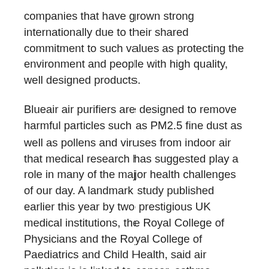companies that have grown strong internationally due to their shared commitment to such values as protecting the environment and people with high quality, well designed products.
Blueair air purifiers are designed to remove harmful particles such as PM2.5 fine dust as well as pollens and viruses from indoor air that medical research has suggested play a role in many of the major health challenges of our day. A landmark study published earlier this year by two prestigious UK medical institutions, the Royal College of Physicians and the Royal College of Paediatrics and Child Health, said air pollution is is linked to cancer, asthma, stroke and heart disease, diabetes, obesity, and dementia.
“Chinese cities like Shanghai and Beijing frequently